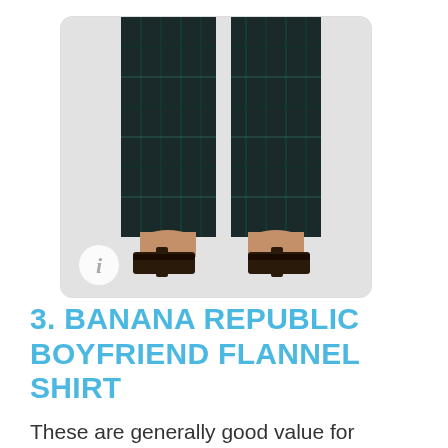[Figure (photo): Lower half of a person wearing dark plaid/tartan trousers and black heeled sandals, shown against a light grey background. An info badge (circle with 'i') is visible in the lower left corner of the image.]
3. BANANA REPUBLIC BOYFRIEND FLANNEL SHIRT
These are generally good value for